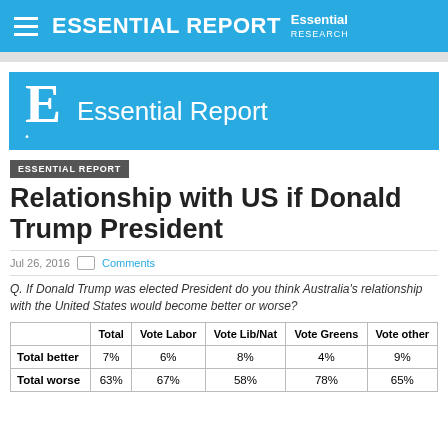ESSENTIAL REPORT Essential Research
[Figure (logo): Essential Report logo banner with large E. and text 'Essential Report' on blue background]
ESSENTIAL REPORT
Relationship with US if Donald Trump President
Jul 26, 2016  Comments
Q. If Donald Trump was elected President do you think Australia's relationship with the United States would become better or worse?
|  | Total | Vote Labor | Vote Lib/Nat | Vote Greens | Vote other |
| --- | --- | --- | --- | --- | --- |
| Total better | 7% | 6% | 8% | 4% | 9% |
| Total worse | 63% | 67% | 58% | 78% | 65% |